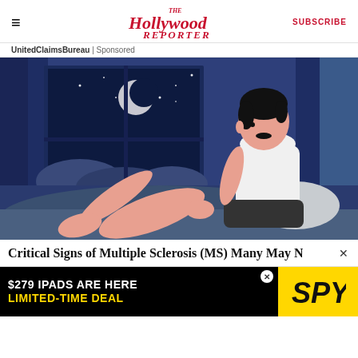The Hollywood Reporter | SUBSCRIBE
UnitedClaimsBureau | Sponsored
[Figure (illustration): Illustration of a man sitting up in bed at night, wearing a white tank top and gray shorts, holding his leg, with a window showing a crescent moon and clouds in a dark blue night sky behind him.]
Critical Signs of Multiple Sclerosis (MS) Many May N
[Figure (other): Advertisement banner: '$279 IPADS ARE HERE LIMITED-TIME DEAL' with SPY logo on yellow background]